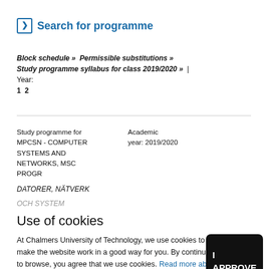Search for programme
Block schedule »  Permissible substitutions »  Study programme syllabus for class 2019/2020 »  | Year: 1  2
Study programme for MPCSN - COMPUTER SYSTEMS AND NETWORKS, MSC PROGR
Academic year: 2019/2020
DATORER, NÄTVERK
OCH SYSTEM
Use of cookies
At Chalmers University of Technology, we use cookies to make the website work in a good way for you. By continuing to browse, you agree that we use cookies. Read more about cookies.